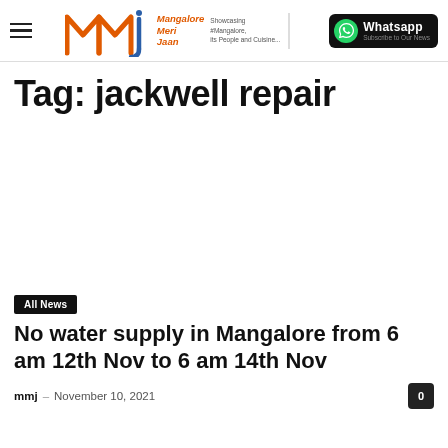MMJ - Mangalore Meri Jaan | Showcasing #Mangalore, its People and Cuisine... | Whatsapp Subscribe to Our News
Tag: jackwell repair
All News
No water supply in Mangalore from 6 am 12th Nov to 6 am 14th Nov
mmj – November 10, 2021